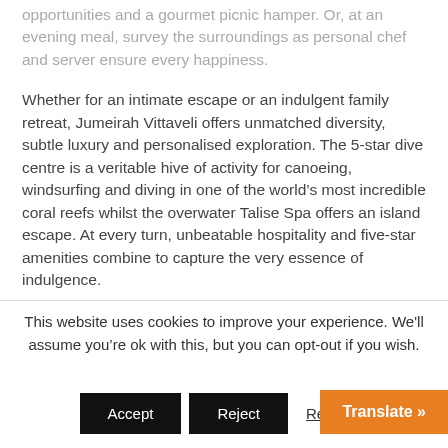opportunities and a gourmet picnic hamper. Or, at an evening meal, survey the surroundings as personal chef and server ensure every happiness.
Whether for an intimate escape or an indulgent family retreat, Jumeirah Vittaveli offers unmatched diversity, subtle luxury and personalised exploration. The 5-star dive centre is a veritable hive of activity for canoeing, windsurfing and diving in one of the world's most incredible coral reefs whilst the overwater Talise Spa offers an island escape. At every turn, unbeatable hospitality and five-star amenities combine to capture the very essence of indulgence.
This website uses cookies to improve your experience. We'll assume you're ok with this, but you can opt-out if you wish.